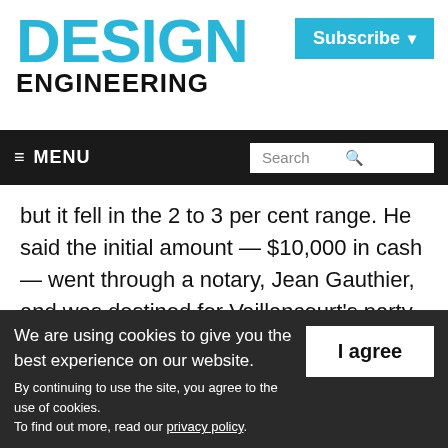DESIGN ENGINEERING
Subscribe
≡ MENU  Search
but it fell in the 2 to 3 per cent range. He said the initial amount — $10,000 in cash — went through a notary, Jean Gauthier, and was destined for Vaillancourt's party, which held all the seats on council at the time.
We are using cookies to give you the best experience on our website. By continuing to use the site, you agree to the use of cookies. To find out more, read our privacy policy.
I agree